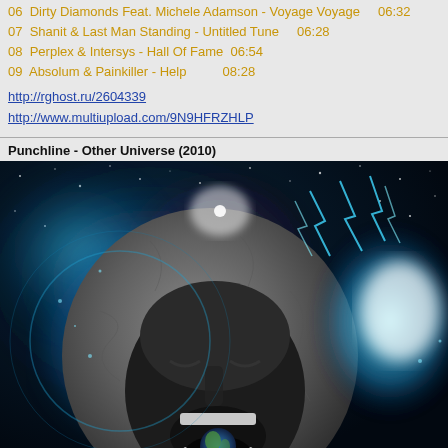06  Dirty Diamonds Feat. Michele Adamson - Voyage Voyage     06:32
07  Shanit & Last Man Standing - Untitled Tune     06:28
08  Perplex & Intersys - Hall Of Fame  06:54
09  Absolum & Painkiller - Help          08:28
http://rghost.ru/2604339
http://www.multiupload.com/9N9HFRZHLP
Punchline - Other Universe (2010)
[Figure (illustration): Album cover art for Punchline - Other Universe (2010). A dramatic digital illustration showing a person screaming with their head merged with a rocky planet/moon, set against a vivid cosmic blue background with stars, nebulae, lightning bolts and other galactic elements. Inside the open screaming mouth is a smaller Earth globe.]